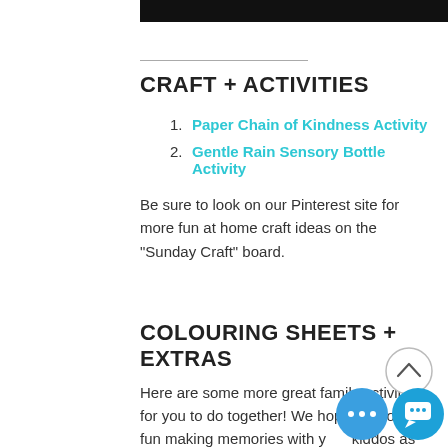CRAFT + ACTIVITIES
1. Paper Chain of Kindness Activity
2. Gentle Rain Sensory Bottle Activity
Be sure to look on our Pinterest site for more fun at home craft ideas on the "Sunday Craft" board.
COLOURING SHEETS + EXTRAS
Here are some more great family activities for you to do together! We hope you lots of  fun making memories with your kiddos as you play together. Be sure to